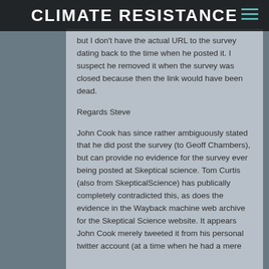CLIMATE RESISTANCE
but I don't have the actual URL to the survey dating back to the time when he posted it. I suspect he removed it when the survey was closed because then the link would have been dead.
Regards Steve
John Cook has since rather ambiguously stated that he did post the survey (to Geoff Chambers), but can provide no evidence for the survey ever being posted at Skeptical science. Tom Curtis (also from SkepticalScience) has publically completely contradicted this, as does the evidence in the Wayback machine web archive for the Skeptical Science website. It appears John Cook merely tweeted it from his personal twitter account (at a time when he had a mere